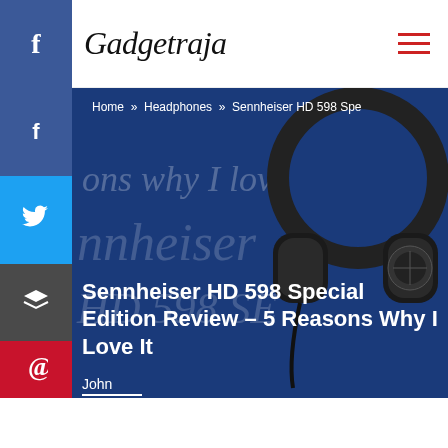Gadgetraja
Home » Headphones » Sennheiser HD 598 Spe
[Figure (photo): Sennheiser HD 598 Special Edition headphones on a dark blue background with text overlay]
Sennheiser HD 598 Special Edition Review – 5 Reasons Why I Love It
John